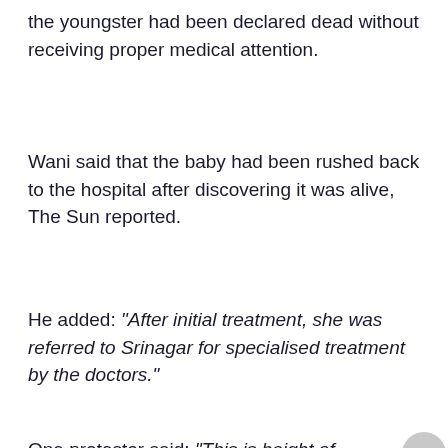the youngster had been declared dead without receiving proper medical attention.
Wani said that the baby had been rushed back to the hospital after discovering it was alive, The Sun reported.
He added: "After initial treatment, she was referred to Srinagar for specialised treatment by the doctors."
One protestor said: "This is height of negligence and non-professionalism on the part of doctors and oth
[Figure (other): ADVERTISEMENT banner: Save Up To $75 on New Tires - Virginia Tire & Auto of Ashburn ...]
ADVERTISEMENT